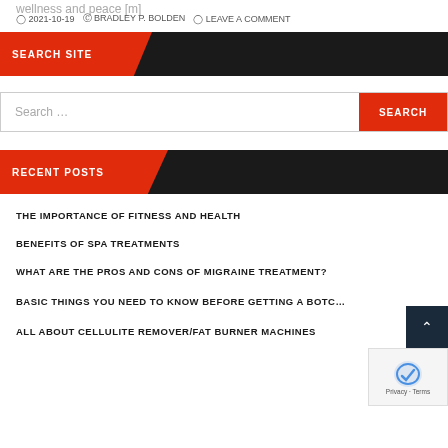wellness and peace [m]
2021-10-19  BRADLEY P. BOLDEN  LEAVE A COMMENT
SEARCH SITE
Search ...
SEARCH
RECENT POSTS
THE IMPORTANCE OF FITNESS AND HEALTH
BENEFITS OF SPA TREATMENTS
WHAT ARE THE PROS AND CONS OF MIGRAINE TREATMENT?
BASIC THINGS YOU NEED TO KNOW BEFORE GETTING A BOTC…
ALL ABOUT CELLULITE REMOVER/FAT BURNER MACHINES